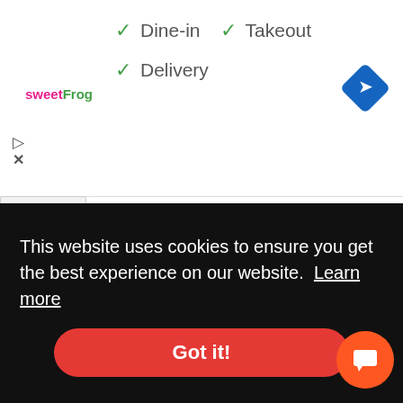[Figure (infographic): Ad banner showing sweetFrog logo with green checkmarks for Dine-in, Takeout, and Delivery options, plus a blue navigation diamond icon]
…el called the Civic S – and it was good. There was no indication that it was a base model at first glance and it has a great set of features for its price and segment.
Building on the success of that trim, HCPI did something very inclusive for the new generation of Civic. All variants get the same powertrain and Honda …ne … / and
This website uses cookies to ensure you get the best experience on our website. Learn more
Got it!
success of its predecessor.